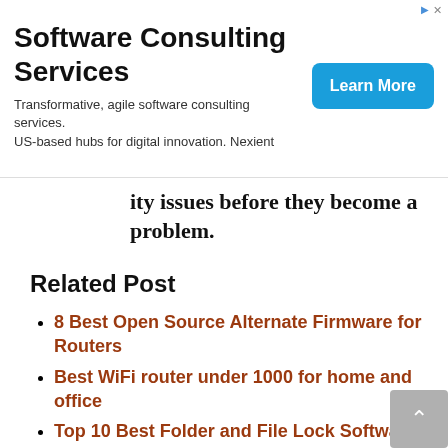[Figure (other): Advertisement banner for Software Consulting Services by Nexient with a 'Learn More' button]
ity issues before they become a problem.
Related Post
8 Best Open Source Alternate Firmware for Routers
Best WiFi router under 1000 for home and office
Top 10 Best Folder and File Lock Software for Windows and Mac PC
The Best Free Employees monitoring Software for Any Size Team